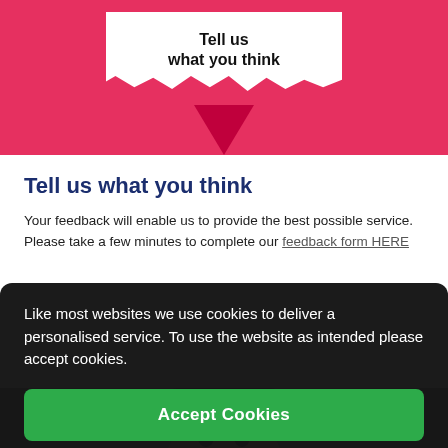[Figure (photo): Pink/red background with a piece of torn white paper revealing the text 'Tell us what you think' in bold black, with a pink triangular fold at the bottom]
Tell us what you think
Your feedback will enable us to provide the best possible service. Please take a few minutes to complete our feedback form HERE
Like most websites we use cookies to deliver a personalised service. To use the website as intended please accept cookies.
Accept Cookies
[Figure (photo): Bottom portion of a person with a surprised expression visible at the very bottom of the page]